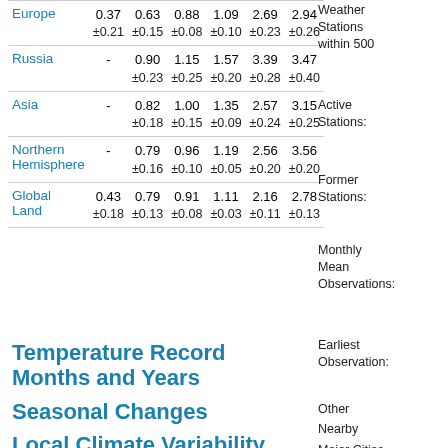| Region | Col1 | Col2 | Col3 | Col4 | Col5 | Col6 |
| --- | --- | --- | --- | --- | --- | --- |
| Europe | 0.37
±0.21 | 0.63
±0.15 | 0.88
±0.08 | 1.09
±0.10 | 2.69
±0.23 | 2.94
±0.26 |
| Russia | - | 0.90
±0.23 | 1.15
±0.25 | 1.57
±0.20 | 3.39
±0.28 | 3.47
±0.40 |
| Asia | - | 0.82
±0.18 | 1.00
±0.15 | 1.35
±0.09 | 2.57
±0.24 | 3.15
±0.25 |
| Northern Hemisphere | - | 0.79
±0.16 | 0.96
±0.10 | 1.19
±0.05 | 2.56
±0.20 | 3.56
±0.20 |
| Global Land | 0.43
±0.18 | 0.79
±0.13 | 0.91
±0.08 | 1.11
±0.03 | 2.16
±0.11 | 2.78
±0.13 |
Temperature Record Months and Years
Seasonal Changes
Local Climate Variability
Weather Stations within 500
Active Stations:
Former Stations:
Monthly Mean Observations:
Earliest Observation:
Other
Nearby
Major Cities